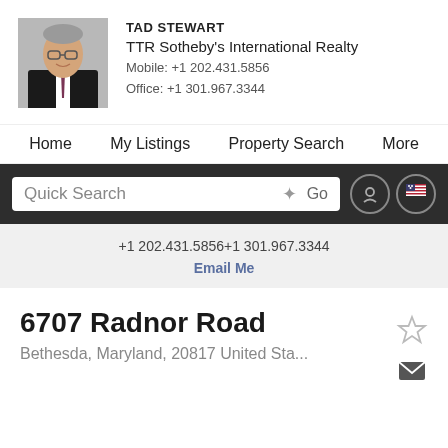[Figure (photo): Professional headshot of Tad Stewart, a man in a suit with glasses]
TAD STEWART
TTR Sotheby's International Realty
Mobile: +1 202.431.5856
Office: +1 301.967.3344
Home   My Listings   Property Search   More
Quick Search  Go
+1 202.431.5856+1 301.967.3344
Email Me
6707 Radnor Road
Bethesda, Maryland, 20817 United Sta...